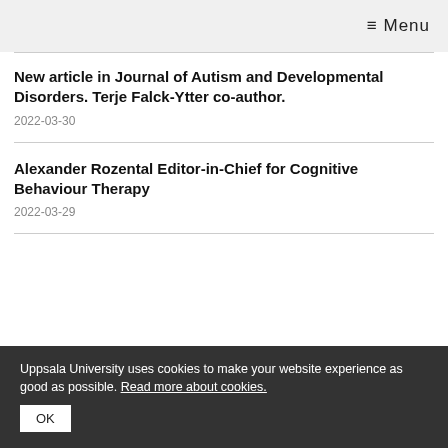≡ Menu
New article in Journal of Autism and Developmental Disorders. Terje Falck-Ytter co-author.
2022-03-30
Alexander Rozental Editor-in-Chief for Cognitive Behaviour Therapy
2022-03-29
Uppsala University uses cookies to make your website experience as good as possible. Read more about cookies.